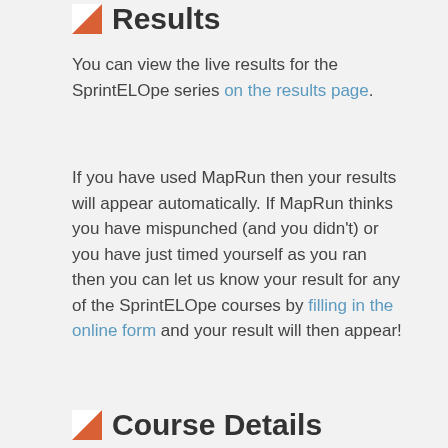Results
You can view the live results for the SprintELOpe series on the results page.
If you have used MapRun then your results will appear automatically. If MapRun thinks you have mispunched (and you didn't) or you have just timed yourself as you ran then you can let us know your result for any of the SprintELOpe courses by filling in the online form and your result will then appear!
Course Details